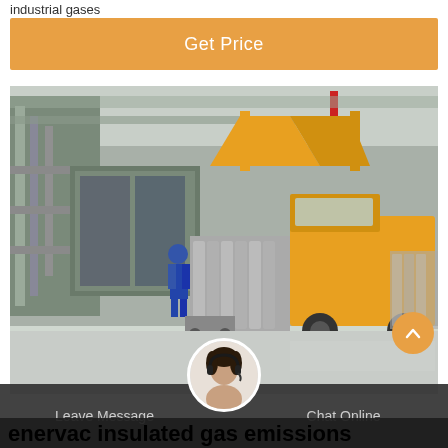industrial gases
Get Price
[Figure (photo): Industrial warehouse scene showing a yellow delivery truck loaded with gas cylinders, with industrial piping and equipment in the background]
Leave Message
Chat Online
enervac insulated gas emissions